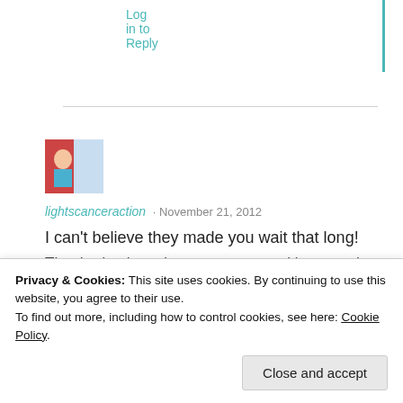Log in to Reply
lightscanceraction · November 21, 2012
I can't believe they made you wait that long!
Privacy & Cookies: This site uses cookies. By continuing to use this website, you agree to their use.
To find out more, including how to control cookies, see here: Cookie Policy
Close and accept